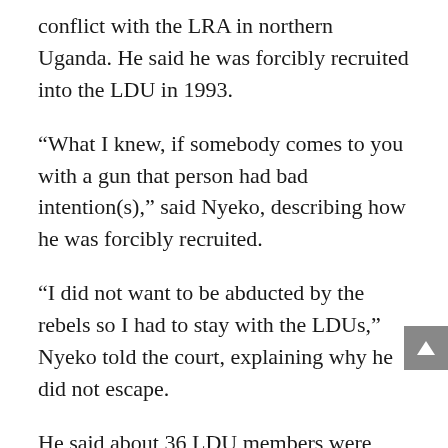conflict with the LRA in northern Uganda. He said he was forcibly recruited into the LDU in 1993.
“What I knew, if somebody comes to you with a gun that person had bad intention(s),” said Nyeko, describing how he was forcibly recruited.
“I did not want to be abducted by the rebels so I had to stay with the LDUs,” Nyeko told the court, explaining why he did not escape.
He said about 36 LDU members were based in Odek on the day the LRA attacked and that there was a mobile unit of Ugandan army soldiers patrolling the area. Nyeko said the